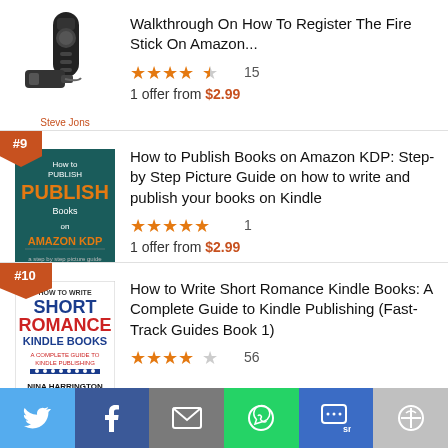[Figure (screenshot): Amazon product listing screenshot showing book rankings with covers, star ratings, and prices]
Walkthrough On How To Register The Fire Stick On Amazon...
★★★★½ 15
1 offer from $2.99
#9 How to Publish Books on Amazon KDP: Step-by Step Picture Guide on how to write and publish your books on Kindle
★★★★★ 1
1 offer from $2.99
#10 How to Write Short Romance Kindle Books: A Complete Guide to Kindle Publishing (Fast-Track Guides Book 1)
★★★★☆ 56